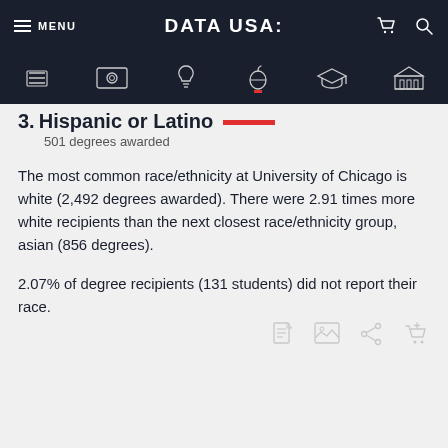MENU | DATA USA: | (cart) (search)
3. Hispanic or Latino
501 degrees awarded
The most common race/ethnicity at University of Chicago is white (2,492 degrees awarded). There were 2.91 times more white recipients than the next closest race/ethnicity group, asian (856 degrees).
2.07% of degree recipients (131 students) did not report their race.